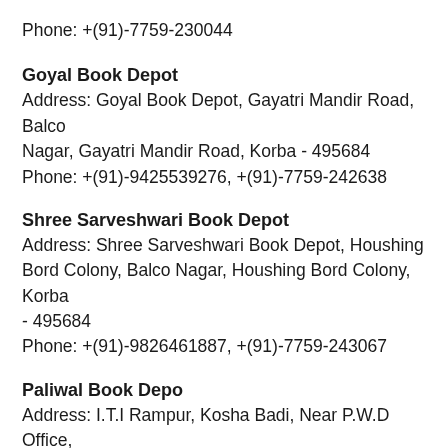Phone: +(91)-7759-230044
Goyal Book Depot
Address: Goyal Book Depot, Gayatri Mandir Road, Balco Nagar, Gayatri Mandir Road, Korba - 495684
Phone: +(91)-9425539276, +(91)-7759-242638
Shree Sarveshwari Book Depot
Address: Shree Sarveshwari Book Depot, Houshing Bord Colony, Balco Nagar, Houshing Bord Colony, Korba - 495684
Phone: +(91)-9826461887, +(91)-7759-243067
Paliwal Book Depo
Address: I.T.I Rampur, Kosha Badi, Near P.W.D Office, Korba - 495677